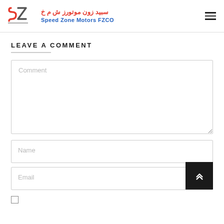سبيد زون موتورز ش م خ | Speed Zone Motors FZCO
LEAVE A COMMENT
Comment
Name
Email